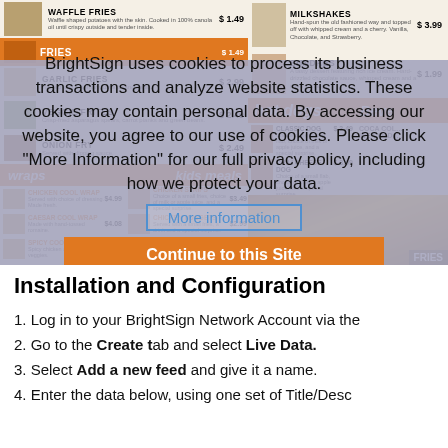[Figure (photo): Fast food restaurant menu board showing waffle fries, fries, garlic fries, veggie frites, onion fry, wraps, kids meals sections with prices, hot dogs section, milkshakes, sundaes. Partially obscured by a cookie consent overlay.]
BrightSign uses cookies to process its business transactions and analyze website statistics. These cookies may contain personal data. By accessing our website, you agree to our use of cookies. Please click "More Information" for our full privacy policy, including how we protect your data.
More Information
Continue to this Site
Installation and Configuration
1. Log in to your BrightSign Network Account via the
2. Go to the Create tab and select Live Data.
3. Select Add a new feed and give it a name.
4. Enter the data below, using one set of Title/Desc